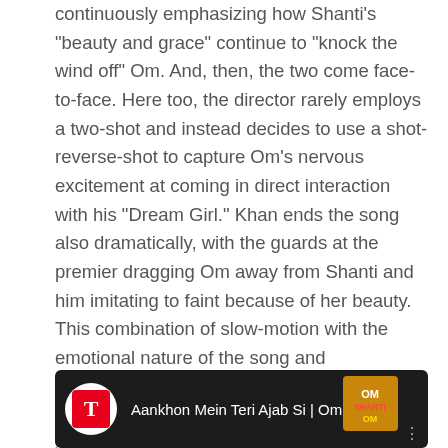continuously emphasizing how Shanti's 'beauty and grace' continue to 'knock the wind off' Om. And, then, the two come face-to-face. Here too, the director rarely employs a two-shot and instead decides to use a shot-reverse-shot to capture Om's nervous excitement at coming in direct interaction with his "Dream Girl." Khan ends the song also dramatically, with the guards at the premier dragging Om away from Shanti and him imitating to faint because of her beauty. This combination of slow-motion with the emotional nature of the song and expressionistic production design and costumes all contribute to making this sequence in the film quintessentially Bollywood, in sync with Khan's celebration of this form of filmmaking in India.
[Figure (screenshot): YouTube video thumbnail showing 'Aankhon Mein Teri Ajab Si | Om S...' with T-Series logo and Om Shanti Om branding on a dark background.]